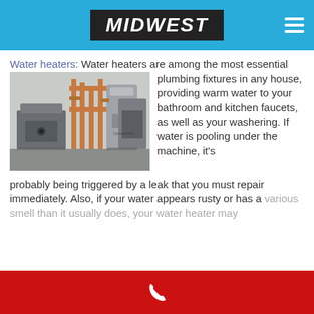MIDWEST
Water heaters: Water heaters are among the most essential plumbing fixtures in any house, providing warm water to your bathroom and kitchen faucets, as well as your washering. If water is pooling under the machine, it's probably being triggered by a leak that you must repair immediately. Also, if your water appears rusty or has a various smell than it usually does, your water heater may
[Figure (photo): Photo of water heater equipment — a gray boiler unit, copper pipes, and a large cylindrical water heater tank in a utility room]
Phone contact icon